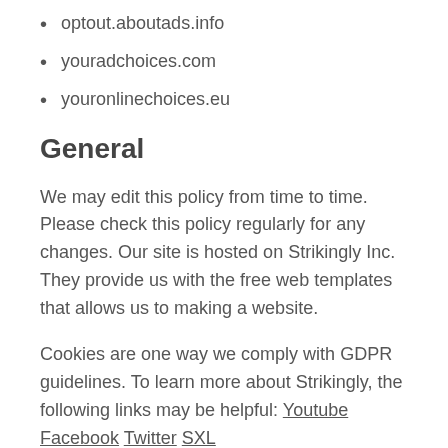optout.aboutads.info
youradchoices.com
youronlinechoices.eu
General
We may edit this policy from time to time. Please check this policy regularly for any changes. Our site is hosted on Strikingly Inc. They provide us with the free web templates that allows us to making a website.
Cookies are one way we comply with GDPR guidelines. To learn more about Strikingly, the following links may be helpful: Youtube Facebook Twitter SXL